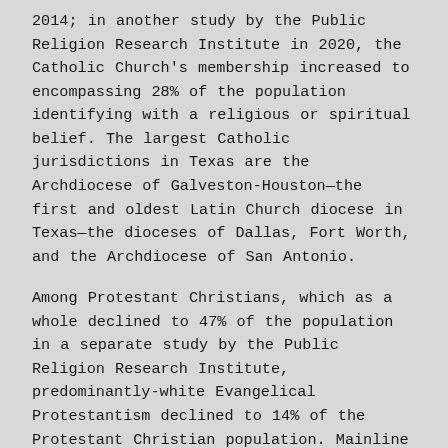2014; in another study by the Public Religion Research Institute in 2020, the Catholic Church's membership increased to encompassing 28% of the population identifying with a religious or spiritual belief. The largest Catholic jurisdictions in Texas are the Archdiocese of Galveston-Houston—the first and oldest Latin Church diocese in Texas—the dioceses of Dallas, Fort Worth, and the Archdiocese of San Antonio.
Among Protestant Christians, which as a whole declined to 47% of the population in a separate study by the Public Religion Research Institute, predominantly-white Evangelical Protestantism declined to 14% of the Protestant Christian population. Mainline Protestants in contrast made up 15% of Protestant Texas. Hispanic or Latino American-dominated Protestant churches and historically Black